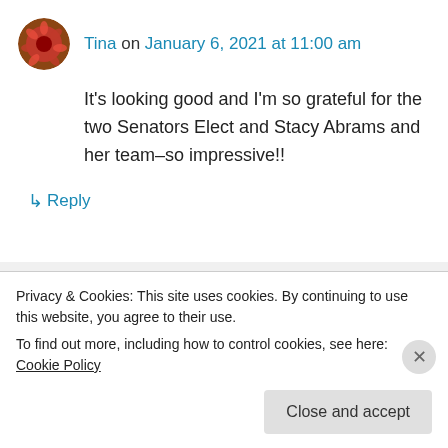Tina on January 6, 2021 at 11:00 am
It's looking good and I'm so grateful for the two Senators Elect and Stacy Abrams and her team–so impressive!!
↳ Reply
annamadeit on January 6, 2021 at 6:31 pm
Eternally grateful! What an amazing effort
Privacy & Cookies: This site uses cookies. By continuing to use this website, you agree to their use.
To find out more, including how to control cookies, see here: Cookie Policy
Close and accept